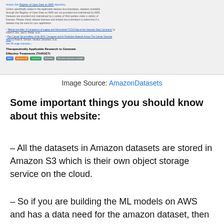[Figure (screenshot): Screenshot of Amazon Datasets website showing dataset listings including 'Therapeutically Applicable Research to Generate Effective Treatments (TARGET)' with tags like AWS, Amazon S3, and other dataset entries with small text descriptions and blue links.]
Image Source: AmazonDatasets
Some important things you should know about this website:
– All the datasets in Amazon datasets are stored in Amazon S3 which is their own object storage service on the cloud.
– So if you are building the ML models on AWS and has a data need for the amazon dataset, then